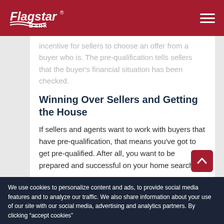Flagstar Bank
incentive for sellers to choose an offer from a buyer who is. The pre-qualification tells sellers that the buyer's financial situation has been checked.
Winning Over Sellers and Getting the House
If sellers and agents want to work with buyers that have pre-qualification, that means you've got to get pre-qualified. After all, you want to be prepared and successful on your home search.
We use cookies to personalize content and ads, to provide social media features and to analyze our traffic. We also share information about your use of our site with our social media, advertising and analytics partners. By clicking "accept cookies"